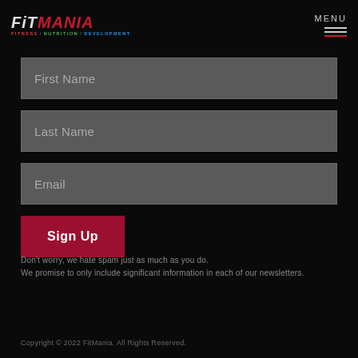FiTMANIA FITNESS / NUTRITION / DEVELOPMENT — MENU
First Name
Last Name
Email
Sign Up
Don't worry, we hate spam just as much as you do. We promise to only include significant information in each of our newsletters.
Copyright © 2022 FitMania. All Rights Reserved.